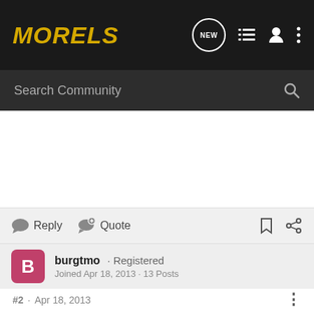MORELS
Search Community
Reply  Quote
burgtmo · Registered
Joined Apr 18, 2013 · 13 Posts
#2 · Apr 18, 2013
I have been out twice in Sandusky County and nothing...But I think they are close. Need a couple of warm nights. Burg